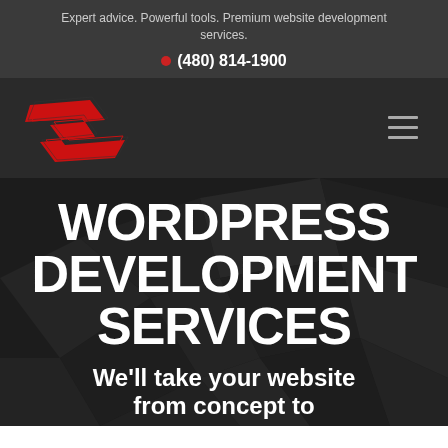Expert advice. Powerful tools. Premium website development services.
(480) 814-1900
[Figure (logo): Red stylized S letter logo for the company]
WORDPRESS DEVELOPMENT SERVICES
We’ll take your website from concept to